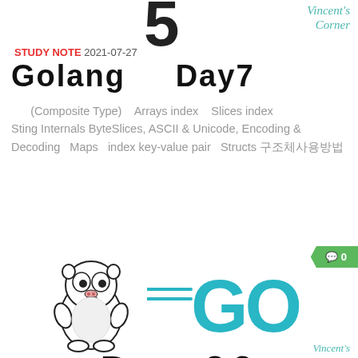Vincent's Corner
Golang Day7
STUDY NOTE 2021-07-27
(Composite Type) Arrays index Slices index Sting Internals ByteSlices, ASCII & Unicode, Encoding & Decoding Maps index key-value pair Structs 구조체사용방법
[Figure (illustration): Golang Go mascot gopher next to the Go programming language logo with speed lines, and 'Day 06' text below]
Vincent's